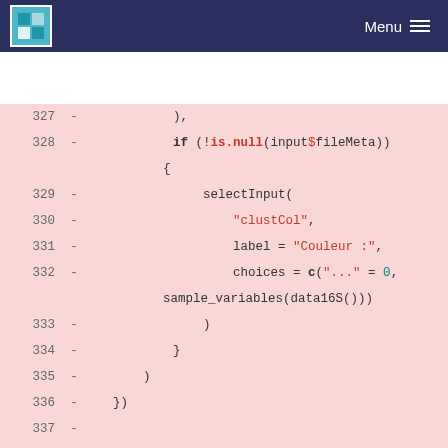Menu
[Figure (screenshot): Code diff view showing R code lines 327-343 with deleted lines (marked with -) on a pink background. Lines show selectInput(), if/is.null checks, renderPlot, validate, and plot_clust function calls.]